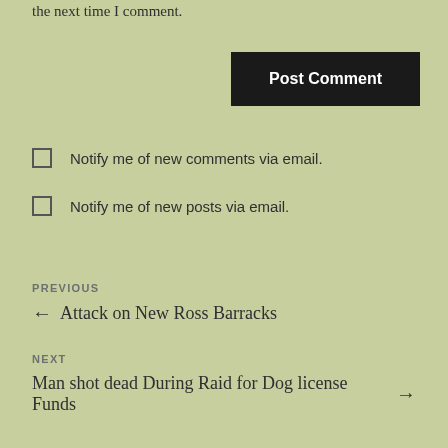the next time I comment.
Post Comment
Notify me of new comments via email.
Notify me of new posts via email.
PREVIOUS
← Attack on New Ross Barracks
NEXT
Man shot dead During Raid for Dog license Funds →